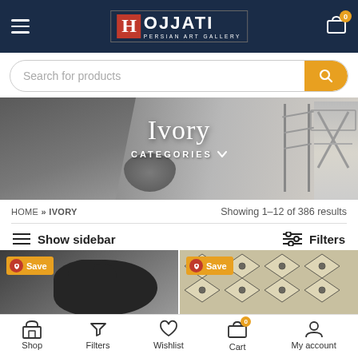HOJJATI PERSIAN ART GALLERY — navigation header with logo, hamburger menu, and cart icon
Search for products
[Figure (photo): Hero banner showing interior home decor scene with gray textiles, poufs, shelving unit and decorative items. Title 'Ivory' and 'CATEGORIES ∨' overlaid.]
HOME » IVORY
Showing 1–12 of 386 results
Show sidebar
Filters
[Figure (photo): Product card left: dark/black textured item on gray background with Save badge]
[Figure (photo): Product card right: patterned rug with geometric diamond design in cream/ivory/black tones with Save badge]
Shop | Filters | Wishlist | Cart | My account — bottom navigation bar